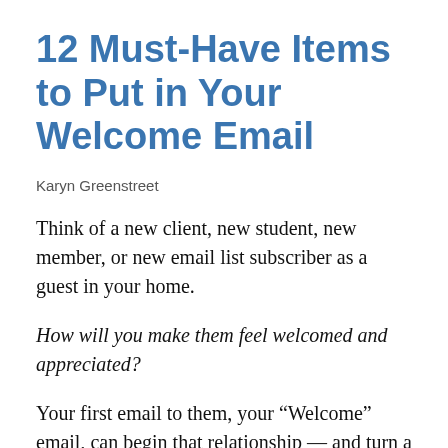12 Must-Have Items to Put in Your Welcome Email
Karyn Greenstreet
Think of a new client, new student, new member, or new email list subscriber as a guest in your home.
How will you make them feel welcomed and appreciated?
Your first email to them, your “Welcome” email, can begin that relationship — and turn a one-way conversation into a two-way